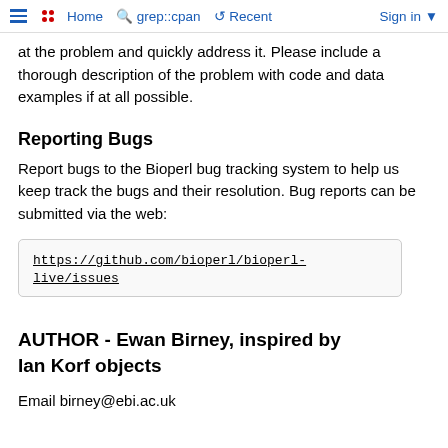Home  grep::cpan  Recent  Sign in
at the problem and quickly address it. Please include a thorough description of the problem with code and data examples if at all possible.
Reporting Bugs
Report bugs to the Bioperl bug tracking system to help us keep track the bugs and their resolution. Bug reports can be submitted via the web:
https://github.com/bioperl/bioperl-live/issues
AUTHOR - Ewan Birney, inspired by Ian Korf objects
Email birney@ebi.ac.uk